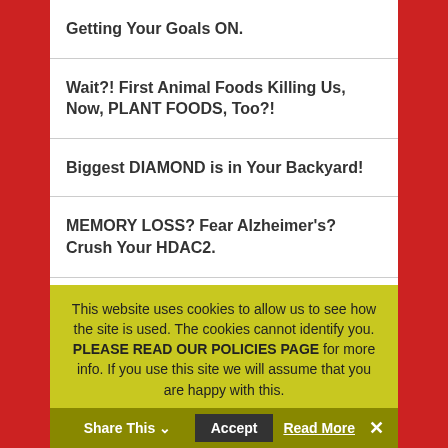Getting Your Goals ON.
Wait?! First Animal Foods Killing Us, Now, PLANT FOODS, Too?!
Biggest DIAMOND is in Your Backyard!
MEMORY LOSS? Fear Alzheimer's? Crush Your HDAC2.
When Icarus Paradox Looks Great.
JOBS: Not a…(clipped)
This website uses cookies to allow us to see how the site is used. The cookies cannot identify you. PLEASE READ OUR POLICIES PAGE for more info. If you use this site we will assume that you are happy with this.
Share This
Accept
Read More